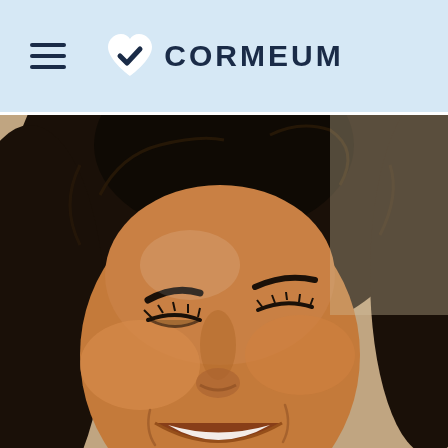[Figure (logo): Cormeum logo: white heart with dark blue checkmark, followed by text CORMEUM in dark navy bold caps]
[Figure (photo): Close-up portrait of a smiling Black woman with natural curly afro hair, photographed outdoors in bright sunlight]